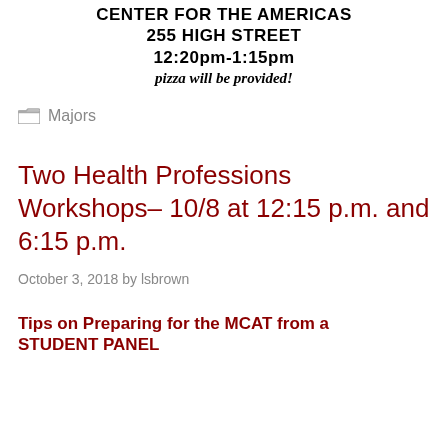CENTER FOR THE AMERICAS
255 HIGH STREET
12:20pm-1:15pm
pizza will be provided!
Majors
Two Health Professions Workshops– 10/8 at 12:15 p.m. and 6:15 p.m.
October 3, 2018 by lsbrown
Tips on Preparing for the MCAT from a STUDENT PANEL